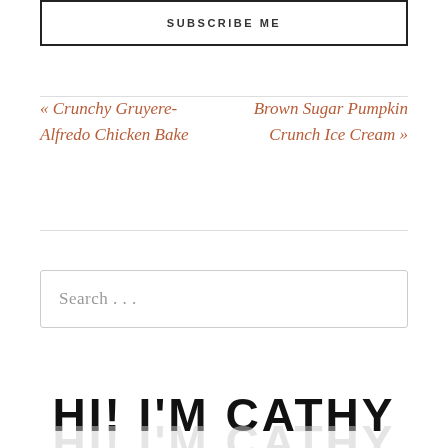SUBSCRIBE ME
« Crunchy Gruyere-Alfredo Chicken Bake
Brown Sugar Pumpkin Crunch Ice Cream »
Search . . .
HI! I'M CATHY